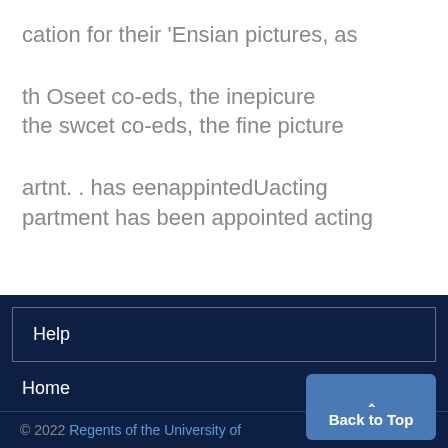cation for their 'Ensian pictures, as
th Oseet co-eds, the inepicure
the swcet co-eds, the fine picture
artnt. . has eenappintedUacting
partment has been appointed acting
Help
Home
© 2022 Regents of the University of